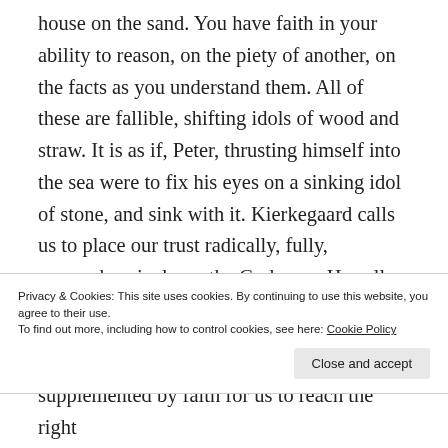house on the sand. You have faith in your ability to reason, on the piety of another, on the facts as you understand them. All of these are fallible, shifting idols of wood and straw. It is as if, Peter, thrusting himself into the sea were to fix his eyes on a sinking idol of stone, and sink with it. Kierkegaard calls us to place our trust radically, fully, comprehensively on the God-man. He calls us to act in faith, to: Venture far out, like a lonely swimmer who floats above 70,000 fathoms of
Privacy & Cookies: This site uses cookies. By continuing to use this website, you agree to their use. To find out more, including how to control cookies, see here: Cookie Policy
Close and accept
supplemented by faith for us to reach the right